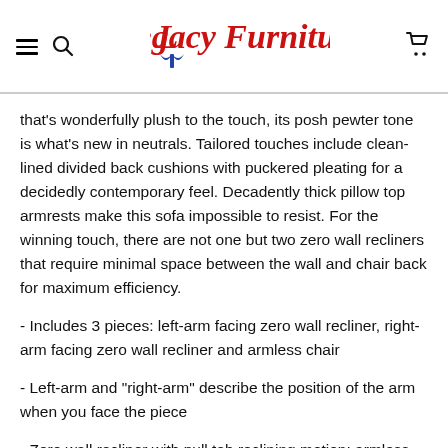Legacy Furniture
that's wonderfully plush to the touch, its posh pewter tone is what's new in neutrals. Tailored touches include clean-lined divided back cushions with puckered pleating for a decidedly contemporary feel. Decadently thick pillow top armrests make this sofa impossible to resist. For the winning touch, there are not one but two zero wall recliners that require minimal space between the wall and chair back for maximum efficiency.
- Includes 3 pieces: left-arm facing zero wall recliner, right-arm facing zero wall recliner and armless chair
- Left-arm and "right-arm" describe the position of the arm when you face the piece
- Zero wall recliner with pull tab reclining motion; armless recliner with one-pull reclining motion